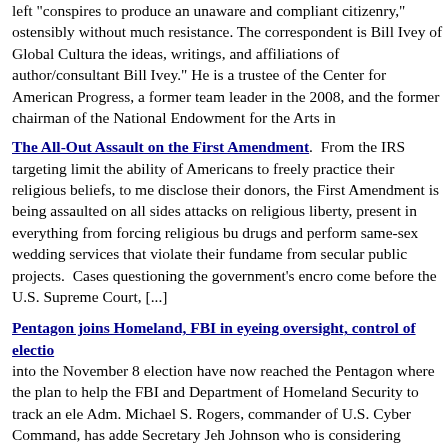left "conspires to produce an unaware and compliant citizenry," ostensibly without much resistance.  The correspondent is Bill Ivey of Global Cultural the ideas, writings, and affiliations of author/consultant Bill Ivey."  He is a trustee of the Center for American Progress, a former team leader in the 2008, and the former chairman of the National Endowment for the Arts in
The All-Out Assault on the First Amendment.  From the IRS targeting limit the ability of Americans to freely practice their religious beliefs, to me disclose their donors, the First Amendment is being assaulted on all sides attacks on religious liberty, present in everything from forcing religious bu drugs and perform same-sex wedding services that violate their fundame from secular public projects.  Cases questioning the government's encro come before the U.S. Supreme Court, [...]
Pentagon joins Homeland, FBI in eyeing oversight, control of electio into the November 8 election have now reached the Pentagon where the plan to help the FBI and Department of Homeland Security to track an ele Adm. Michael S. Rogers, commander of U.S. Cyber Command, has adde Secretary Jeh Johnson who is considering whether the election system is and financial sector, and subject to federal oversight.
Clinton Camp "Demands" "Compliant Citizenry" for Her Master Plan Wikileaks dump laid out Democrat presidential nominee Hillary Clinton's include justice, equality or fairness.  Instead, Clinton's plan for the future power while working to create an "unaware" and "compliant" citizenry.  Th appointed Chairman of the National Endowment for the Arts during Presi sent to Hillary Clinton's campaign chairman John Podesta on March 13,
Kansas woman who claimed police told her to stop praying in her h Sause, a retired Catholic nurse on disability and rape survivor, was at ho two police officers approached her door and demanded to be allowed in